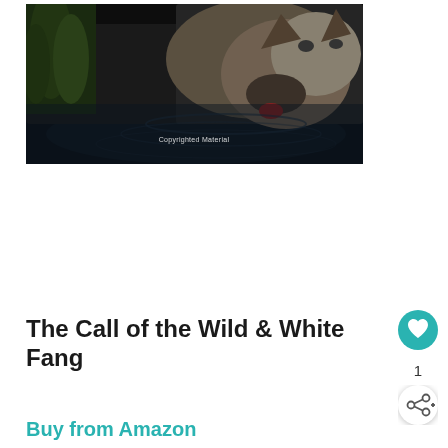[Figure (photo): A wolf drinking water from a dark rocky surface, viewed from above. Green plants visible on the left. Watermark reads 'Copyrighted Material'.]
The Call of the Wild & White Fang
1
Buy from Amazon